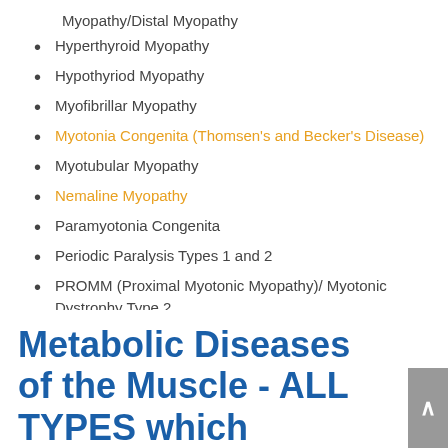Myopathy/Distal Myopathy
Hyperthyroid Myopathy
Hypothyriod Myopathy
Myofibrillar Myopathy
Myotonia Congenita (Thomsen's and Becker's Disease)
Myotubular Myopathy
Nemaline Myopathy
Paramyotonia Congenita
Periodic Paralysis Types 1 and 2
PROMM (Proximal Myotonic Myopathy)/ Myotonic Dystrophy Type 2
Metabolic Diseases of the Muscle - ALL TYPES which